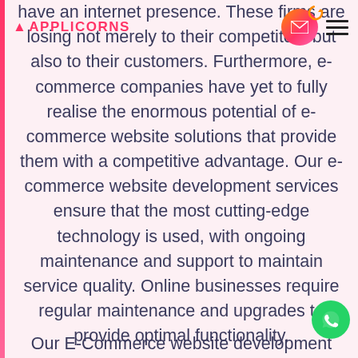[Figure (screenshot): Website navigation bar with Applicorns logo (pink triangle + text), an email button (gradient orange-pink circle with envelope icon and refresh arrow), and a hamburger menu (three dark horizontal lines).]
have an internet presence. These firms are losing not merely to their competitors but also to their customers. Furthermore, e-commerce companies have yet to fully realise the enormous potential of e-commerce website solutions that provide them with a competitive advantage. Our e-commerce website development services ensure that the most cutting-edge technology is used, with ongoing maintenance and support to maintain service quality. Online businesses require regular maintenance and upgrades to provide optimal functionality.
Our E-Commerce website development